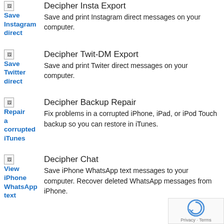Save Instagram direct | Decipher Insta Export
Save and print Instagram direct messages on your computer.
Save Twitter direct | Decipher Twit-DM Export
Save and print Twiter direct messages on your computer.
Repair a corrupted iTunes | Decipher Backup Repair
Fix problems in a corrupted iPhone, iPad, or iPod Touch backup so you can restore in iTunes.
View iPhone WhatsApp text | Decipher Chat
Save iPhone WhatsApp text messages to your computer. Recover deleted WhatsApp messages from iPhone.